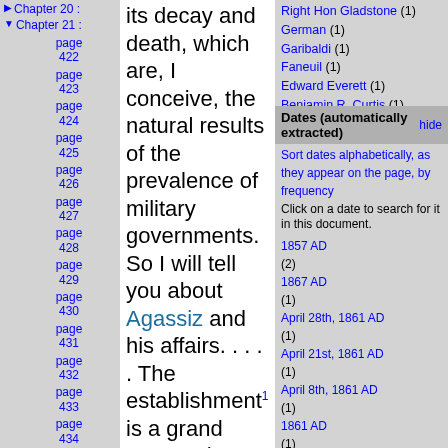▶ Chapter 20 :
▼ Chapter 21 :
page 422
page 423
page 424
page 425
page 426
page 427
page 428
page 429
page 430
page 431
page 432
page 433
page 434
page 435
its decay and death, which are, I conceive, the natural results of the prevalence of military governments. So I will tell you about Agassiz and his affairs. . . . . The establishment¹ is a grand one, and I take an interest in it, not from any knowledge about the subject, or any personal regard for it, but because I think such an
Right Hon Gladstone (1)
German (1)
Garibaldi (1)
Faneuil (1)
Edward Everett (1)
Benjamin R. Curtis (1)
Joseph Green Cogswell (1)
Henry Clay (1)
Cavour (1)
Buchanan (1)
Bryant (1)
Boston (1)
Babrius (1)
John Quincy Adams (1)
Dates (automatically extracted)   hide
Sort dates alphabetically, as they appear on the page, by frequency
Click on a date to search for it in this document.
1857 AD (2)
1867 AD (1)
April 28th, 1861 AD (1)
April 21st, 1861 AD (1)
April 8th, 1861 AD (1)
1861 AD (1)
November 27th, 1860 AD (1)
November 23rd, 1860 AD (1)
October 23rd, 1860 AD (1)
October 13th, 1860 AD (1)
July 26th, 1860 AD (1)
March 26th, 1860 AD (1)
August 22nd, 1859 AD (1)
May 17th, 1859 AD (1)
1859 AD (1)
1855 AD (1)
1832 AD (1)
1828 AD (1)
1819 AD (1)